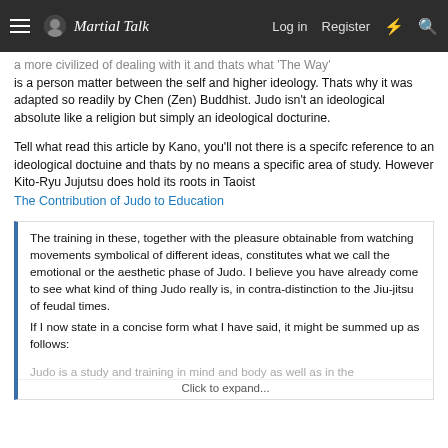Martial Talk — Log in  Register
a more civilized of dealing with it and thats what 'The Way' is a person matter between the self and higher ideology. Thats why it was adapted so readily by Chen (Zen) Buddhist. Judo isn't an ideological absolute like a religion but simply an ideological docturine.
Tell what read this article by Kano, you'll not there is a specifc reference to an ideological doctuine and thats by no means a specific area of study. However Kito-Ryu Jujutsu does hold its roots in Taoist
The Contribution of Judo to Education
The training in these, together with the pleasure obtainable from watching movements symbolical of different ideas, constitutes what we call the emotional or the aesthetic phase of Judo. I believe you have already come to see what kind of thing Judo really is, in contra-distinction to the Jiu-jitsu of feudal times.
If I now state in a concise form what I have said, it might be summed up as follows:
Judo is a study and training in mind and body as well as in the
Click to expand...